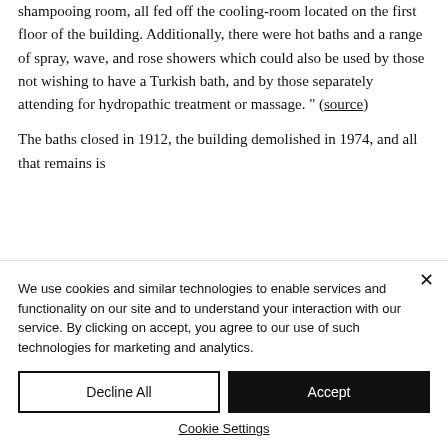shampooing room, all fed off the cooling-room located on the first floor of the building. Additionally, there were hot baths and a range of spray, wave, and rose showers which could also be used by those not wishing to have a Turkish bath, and by those separately attending for hydropathic treatment or massage." (source)
The baths closed in 1912, the building demolished in 1974, and all that remains is
We use cookies and similar technologies to enable services and functionality on our site and to understand your interaction with our service. By clicking on accept, you agree to our use of such technologies for marketing and analytics.